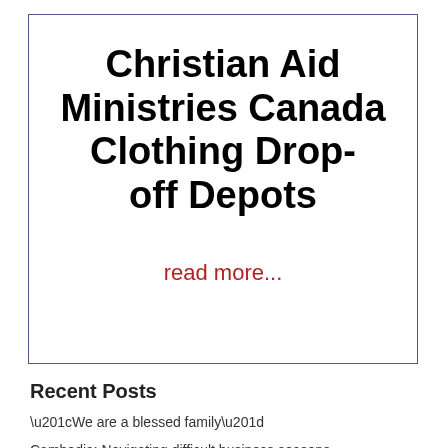Christian Aid Ministries Canada Clothing Drop-off Depots
read more...
Recent Posts
“We are a blessed family”
Cambodia: Navigating difficult business seasons
Fighter jets and military in Ukraine: The new normal